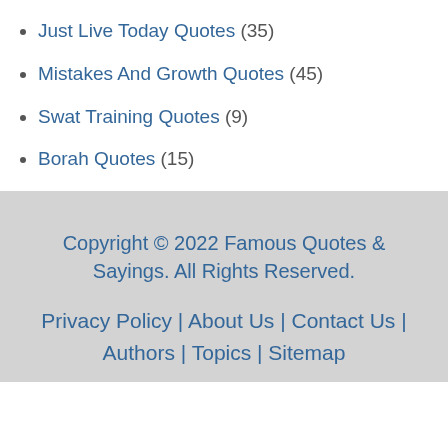Just Live Today Quotes (35)
Mistakes And Growth Quotes (45)
Swat Training Quotes (9)
Borah Quotes (15)
Copyright © 2022 Famous Quotes & Sayings. All Rights Reserved.
Privacy Policy | About Us | Contact Us | Authors | Topics | Sitemap